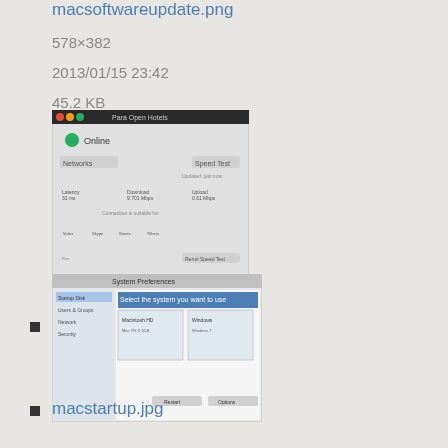macsoftwareupdate.png
578×382
2013/01/15 23:42
45.2 KB
[Figure (screenshot): Thumbnail of macspeedtest PNG file showing a Mac network speed test dialog]
macspeedtest.png
351×386
2013/01/15 23:03
53.5 KB
[Figure (screenshot): Thumbnail of macstartup JPG file showing a Mac startup/settings window]
macstartup.jpg
610×461
2016/01/29 22:24
58 KB